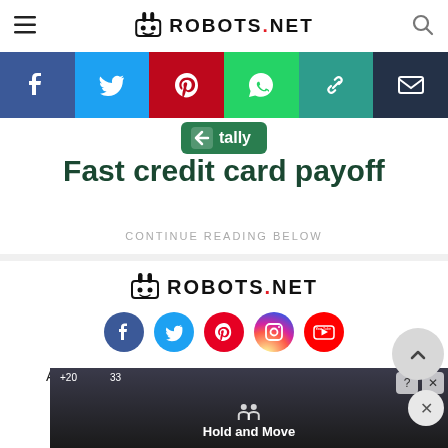ROBOTS.NET
[Figure (infographic): Social share bar with Facebook, Twitter, Pinterest, WhatsApp, copy link, and email buttons]
[Figure (logo): Tally app logo with green background]
Fast credit card payoff
CONTINUE READING BELOW
[Figure (logo): ROBOTS.NET logo with robot icon]
[Figure (infographic): Footer social icons: Facebook, Twitter, Pinterest, Instagram, YouTube]
About Us  Contribute  Advertise  Contact Us  Te
Privacy Policy  Affiliate Disclosure  DMCA
[Figure (screenshot): Bottom advertisement banner showing Hold and Move app with trees background]